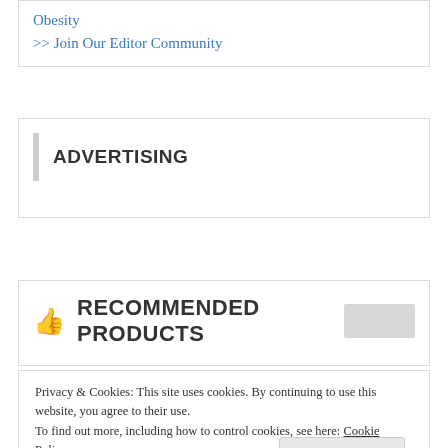Obesity
>> Join Our Editor Community
ADVERTISING
👍 RECOMMENDED PRODUCTS
Privacy & Cookies: This site uses cookies. By continuing to use this website, you agree to their use.
To find out more, including how to control cookies, see here: Cookie Policy
Close and accept